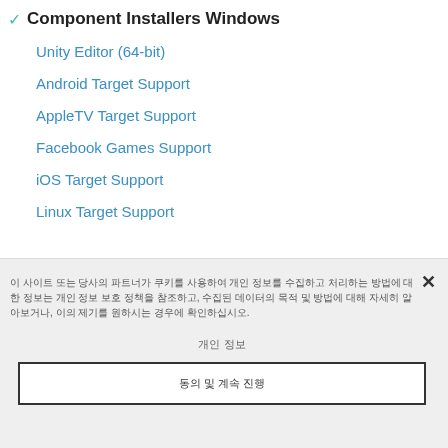Component Installers Windows
Unity Editor (64-bit)
Android Target Support
AppleTV Target Support
Facebook Games Support
iOS Target Support
Linux Target Support
이 사이트 또는 당사의 파트너가 쿠키를 사용하여 개인 정보를 수집하고 처리하는 방법에 대한 정보는 개인 정보 보호 정책을 참조하고, 수집된 데이터의 목적 및 방법에 대해 자세히 알아보거나, 이의 제기를 원하시는 경우에 확인하십시오.
개인 정보
동의 및 계속 진행